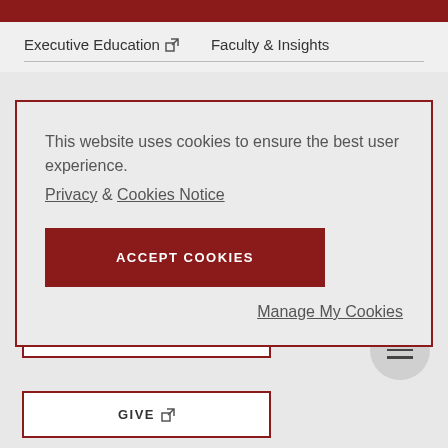Executive Education  Faculty & Insights
This website uses cookies to ensure the best user experience.
Privacy & Cookies Notice
ACCEPT COOKIES
Manage My Cookies
APPLY
GIVE